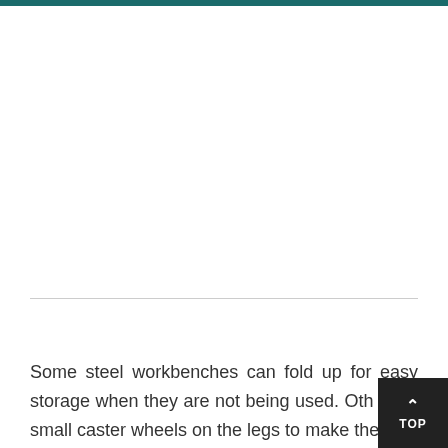[Figure (photo): Large image area at the top of the page, appears blank/white in this view, bounded by a teal/dark green header bar at top and a horizontal divider line at bottom.]
Some steel workbenches can fold up for easy storage when they are not being used. Oth have small caster wheels on the legs to make them